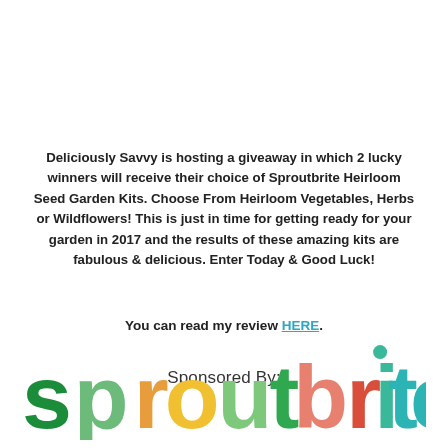Deliciously Savvy is hosting a giveaway in which 2 lucky winners will receive their choice of Sproutbrite Heirloom Seed Garden Kits. Choose From Heirloom Vegetables, Herbs or Wildflowers! This is just in time for getting ready for your garden in 2017 and the results of these amazing kits are fabulous & delicious. Enter Today & Good Luck!
You can read my review HERE.
Sponsored By:
[Figure (logo): Sproutbrite logo in colorful letters: s(dark green), p(light green), r(orange/yellow), o(yellow), u(light green), t(green), b(salmon/pink), r(red-orange), i(teal/cyan), t(teal), e(teal)]